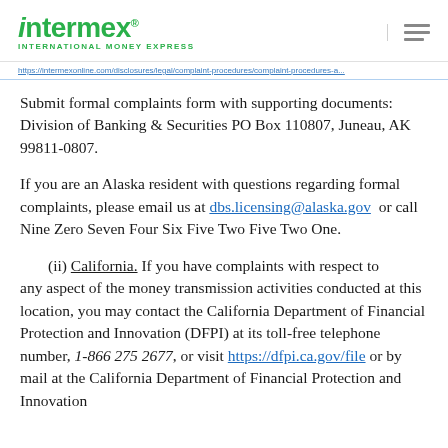intermex INTERNATIONAL MONEY EXPRESS
Submit formal complaints form with supporting documents: Division of Banking & Securities PO Box 110807, Juneau, AK 99811-0807.
If you are an Alaska resident with questions regarding formal complaints, please email us at dbs.licensing@alaska.gov or call Nine Zero Seven Four Six Five Two Five Two One.
(ii) California. If you have complaints with respect to any aspect of the money transmission activities conducted at this location, you may contact the California Department of Financial Protection and Innovation (DFPI) at its toll-free telephone number, 1-866 275 2677, or visit https://dfpi.ca.gov/file or by mail at the California Department of Financial Protection and Innovation